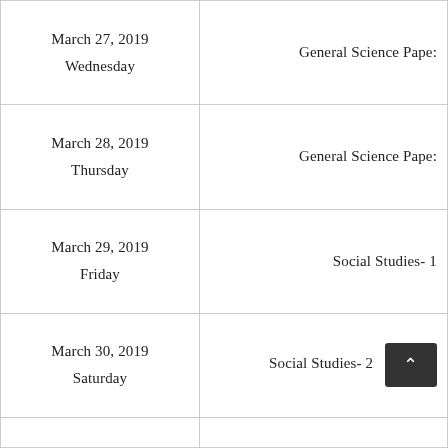| Date | Subject |
| --- | --- |
| March 27, 2019
Wednesday | General Science Paper |
| March 28, 2019
Thursday | General Science Paper |
| March 29, 2019
Friday | Social Studies- 1 |
| March 30, 2019
Saturday | Social Studies- 2 |
|  |  |